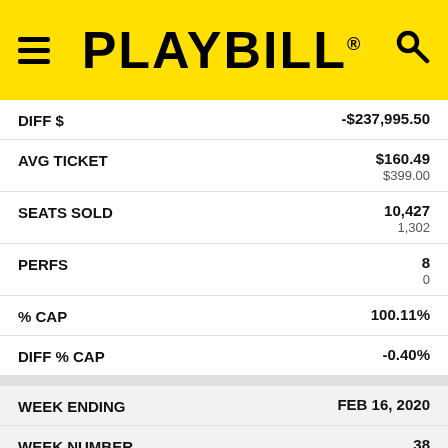PLAYBILL
| Label | Value | Sub-value |
| --- | --- | --- |
| DIFF $ | -$237,995.50 |  |
| AVG TICKET | $160.49 | $399.00 |
| SEATS SOLD | 10,427 | 1,302 |
| PERFS | 8 | 0 |
| % CAP | 100.11% |  |
| DIFF % CAP | -0.40% |  |
| WEEK ENDING | FEB 16, 2020 |  |
| WEEK NUMBER | 38 |  |
| THIS WEEK GROSS | $1,911,377.50 | $1,754,340.00 |